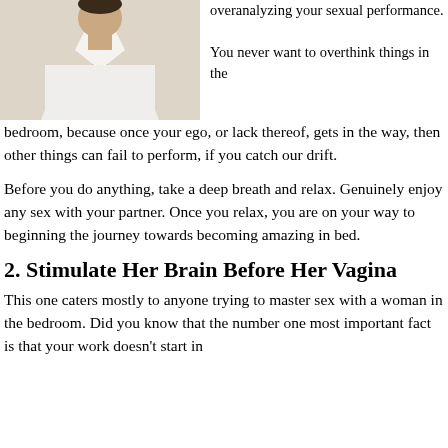[Figure (photo): Man in white shirt and pink tie, upper body visible]
overanalyzing your sexual performance.

You never want to overthink things in the bedroom, because once your ego, or lack thereof, gets in the way, then other things can fail to perform, if you catch our drift.
Before you do anything, take a deep breath and relax. Genuinely enjoy any sex with your partner. Once you relax, you are on your way to beginning the journey towards becoming amazing in bed.
2. Stimulate Her Brain Before Her Vagina
This one caters mostly to anyone trying to master sex with a woman in the bedroom. Did you know that the number one most important fact is that your work doesn't start in